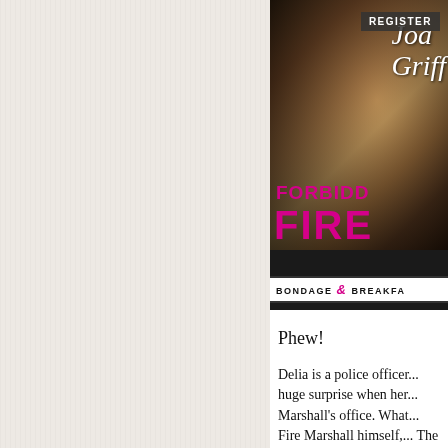[Figure (illustration): Book cover for 'Forbidden Fire' by Joan Griffin, part of the Bondage & Breakfast series. Shows a dark romantic couple silhouette. Cover has 'REGISTER' badge at top right, author name in white script, title in pink/magenta bold text, and subtitle 'BONDAGE & BREAKFAST' at bottom.]
Phew!
Delia is a police officer... huge surprise when her... Marshall's office. What... Fire Marshall himself,... The also he had...